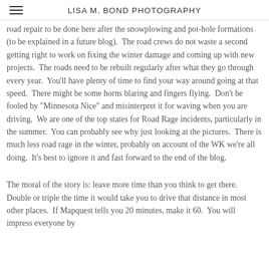LISA M. BOND PHOTOGRAPHY
road repair to be done here after the snowplowing and pot-hole formations (to be explained in a future blog).  The road crews do not waste a second getting right to work on fixing the winter damage and coming up with new projects.  The roads need to be rebuilt regularly after what they go through every year.  You'll have plenty of time to find your way around going at that speed.  There might be some horns blaring and fingers flying.  Don't be fooled by "Minnesota Nice" and misinterpret it for waving when you are driving.  We are one of the top states for Road Rage incidents, particularly in the summer.  You can probably see why just looking at the pictures.  There is much less road rage in the winter, probably on account of the WK we're all doing.  It's best to ignore it and fast forward to the end of the blog.
The moral of the story is: leave more time than you think to get there.  Double or triple the time it would take you to drive that distance in most other places.  If Mapquest tells you 20 minutes, make it 60.  You will impress everyone by